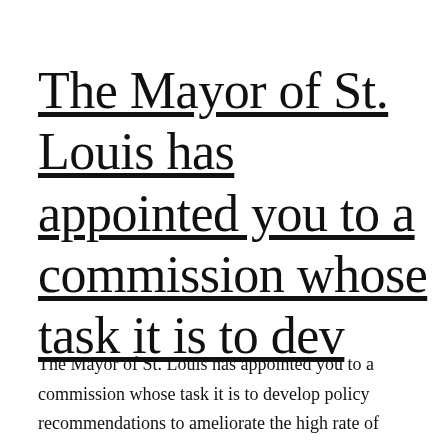The Mayor of St. Louis has appointed you to a commission whose task it is to dev
The Mayor of St. Louis has appointed you to a commission whose task it is to develop policy recommendations to ameliorate the high rate of